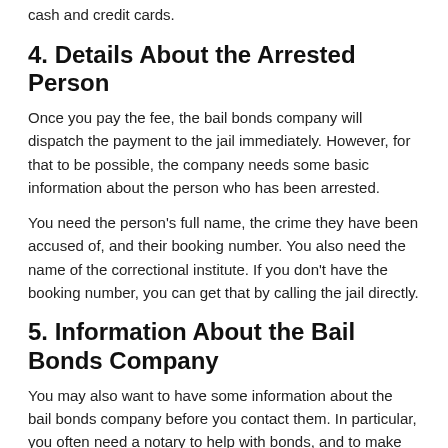cash and credit cards.
4. Details About the Arrested Person
Once you pay the fee, the bail bonds company will dispatch the payment to the jail immediately. However, for that to be possible, the company needs some basic information about the person who has been arrested.
You need the person's full name, the crime they have been accused of, and their booking number. You also need the name of the correctional institute. If you don't have the booking number, you can get that by calling the jail directly.
5. Information About the Bail Bonds Company
You may also want to have some information about the bail bonds company before you contact them. In particular, you often need a notary to help with bonds, and to make that easier, you may want to work with a bail bonds company that has a notary on site. You may also want to work with a company that provides shuttle